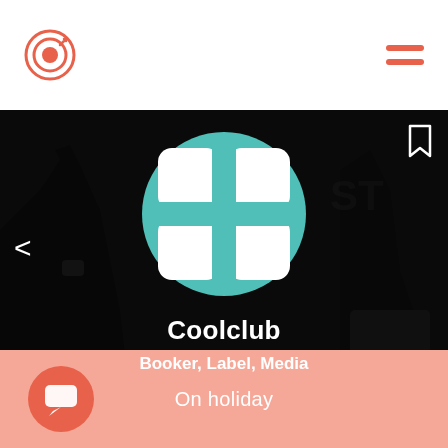Coolclub app header with logo and menu icon
[Figure (screenshot): Mobile app profile page for Coolclub showing dark concert background with teal Coolclub logo, navigation arrow, bookmark icon, name and category labels]
Coolclub
Booker, Label, Media
On holiday